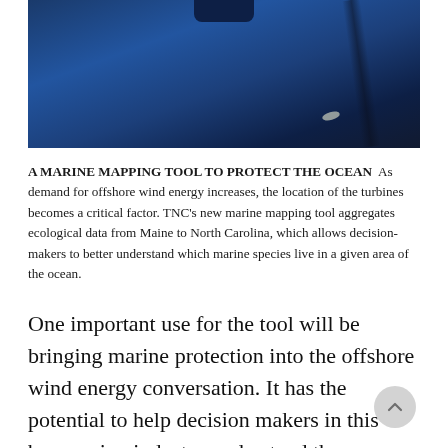[Figure (photo): Close-up photograph of a dark blue surface, likely a solar panel or wind turbine component, with a diagonal dark stripe and a glossy blue background.]
A MARINE MAPPING TOOL TO PROTECT THE OCEAN  As demand for offshore wind energy increases, the location of the turbines becomes a critical factor. TNC's new marine mapping tool aggregates ecological data from Maine to North Carolina, which allows decision-makers to better understand which marine species live in a given area of the ocean.
One important use for the tool will be bringing marine protection into the offshore wind energy conversation. It has the potential to help decision makers in this burgeoning industry understand the